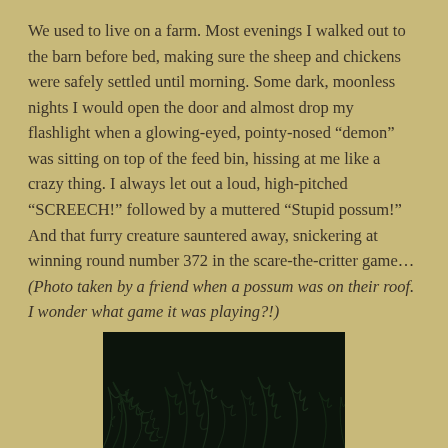We used to live on a farm. Most evenings I walked out to the barn before bed, making sure the sheep and chickens were safely settled until morning. Some dark, moonless nights I would open the door and almost drop my flashlight when a glowing-eyed, pointy-nosed “demon” was sitting on top of the feed bin, hissing at me like a crazy thing. I always let out a loud, high-pitched “SCREECH!” followed by a muttered “Stupid possum!” And that furry creature sauntered away, snickering at winning round number 372 in the scare-the-critter game… (Photo taken by a friend when a possum was on their roof. I wonder what game it was playing?!)
[Figure (photo): Dark nighttime photo of ferns or foliage, very low light, nearly black with dark green plant shapes visible]